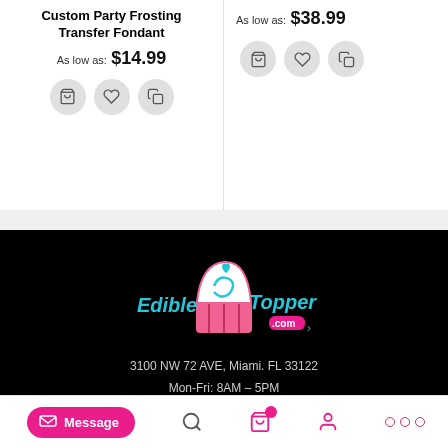Custom Party Frosting Transfer Fondant
As low as: $14.99
As low as: $38.99
[Figure (logo): EdibleCakeTopper.com logo with cupcake graphic in teal and pink on black background]
3100 NW 72 AVE, Miami. FL 33122
Mon-Fri: 8AM – 5PM
prints@ediblecaketopper.com
Message | Search | Cart | Account | More